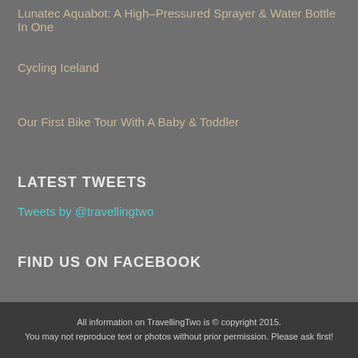Lunatec Aquabot: A High-Pressured Sprayer & Water Bottle In One
Cycling Iceland
Our First Bike Tour With A Baby & Toddler
LATEST TWEETS
Tweets by @travellingtwo
FIND US ON FACEBOOK
All information on TravellingTwo is © copyright 2015. You may not reproduce text or photos without prior permission. Please ask first!